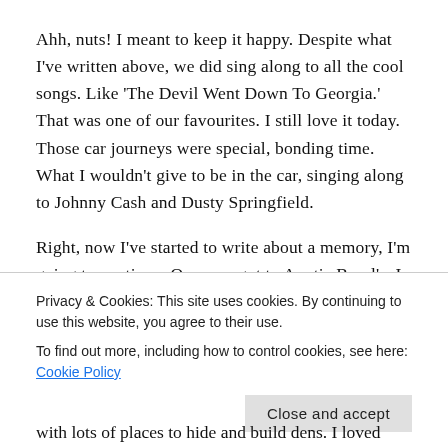Ahh, nuts! I meant to keep it happy. Despite what I've written above, we did sing along to all the cool songs. Like 'The Devil Went Down To Georgia.' That was one of our favourites. I still love it today. Those car journeys were special, bonding time. What I wouldn't give to be in the car, singing along to Johnny Cash and Dusty Springfield.
Right, now I've started to write about a memory, I'm going to continue. Once we got to Auntie Beryl's, I
Privacy & Cookies: This site uses cookies. By continuing to use this website, you agree to their use.
To find out more, including how to control cookies, see here: Cookie Policy
Close and accept
with lots of places to hide and build dens. I loved